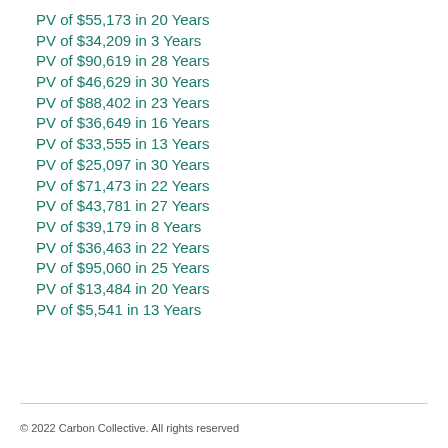PV of $55,173 in 20 Years
PV of $34,209 in 3 Years
PV of $90,619 in 28 Years
PV of $46,629 in 30 Years
PV of $88,402 in 23 Years
PV of $36,649 in 16 Years
PV of $33,555 in 13 Years
PV of $25,097 in 30 Years
PV of $71,473 in 22 Years
PV of $43,781 in 27 Years
PV of $39,179 in 8 Years
PV of $36,463 in 22 Years
PV of $95,060 in 25 Years
PV of $13,484 in 20 Years
PV of $5,541 in 13 Years
© 2022 Carbon Collective. All rights reserved